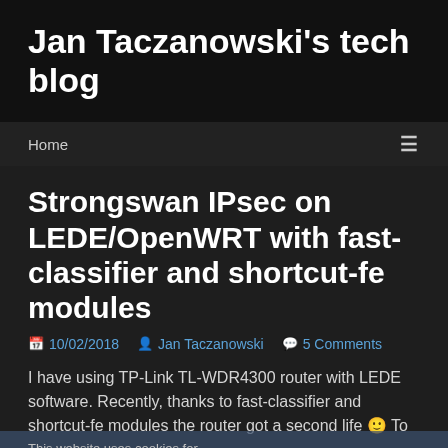Jan Taczanowski's tech blog
Home ≡
Strongswan IPsec on LEDE/OpenWRT with fast-classifier and shortcut-fe modules
10/02/2018  Jan Taczanowski  5 Comments
I have using TP-Link TL-WDR4300 router with LEDE software. Recently, thanks to fast-classifier and shortcut-fe modules the router got a second life 🙂 To
This website uses cookies for statistics purpose. Learn more OK